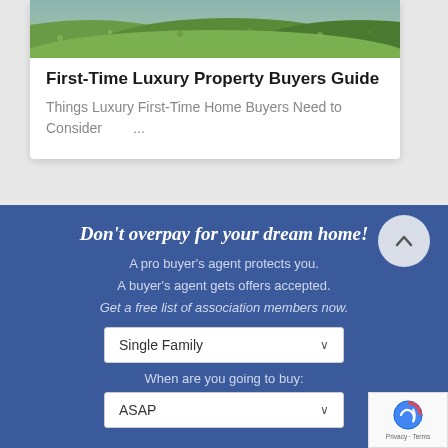[Figure (photo): Landscape/nature photo showing green grass/field – top portion of a card]
First-Time Luxury Property Buyers Guide
Things Luxury First-Time Home Buyers Need to Consider    ...
Don't overpay for your dream home!
A pro buyer's agent protects you.
A buyer's agent gets offers accepted.
Get a free list of association members now.
Single Family
When are you going to buy:
ASAP